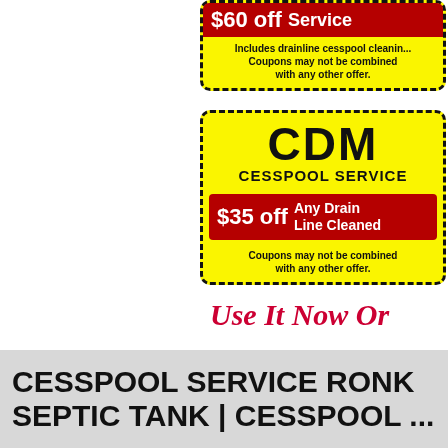[Figure (infographic): CDM Cesspool Service coupons. First coupon: $60 off Service. Includes drainline cesspool cleaning. Coupons may not be combined with any other offer. Second coupon: CDM Cesspool Service, $35 off Any Drain Line Cleaned. Coupons may not be combined with any other offer.]
Use It Now Or
CESSPOOL SERVICE RONK... SEPTIC TANK | CESSPOOL ...